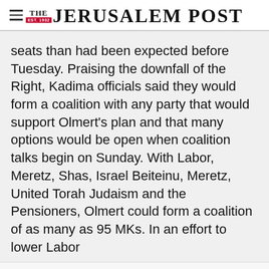THE JERUSALEM POST
seats than had been expected before Tuesday. Praising the downfall of the Right, Kadima officials said they would form a coalition with any party that would support Olmert's plan and that many options would be open when coalition talks begin on Sunday. With Labor, Meretz, Shas, Israel Beiteinu, Meretz, United Torah Judaism and the Pensioners, Olmert could form a coalition of as many as 95 MKs. In an effort to lower Labor
Advertisement